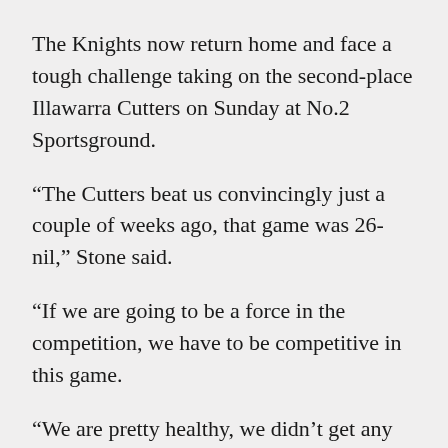The Knights now return home and face a tough challenge taking on the second-place Illawarra Cutters on Sunday at No.2 Sportsground.
“The Cutters beat us convincingly just a couple of weeks ago, that game was 26-nil,” Stone said.
“If we are going to be a force in the competition, we have to be competitive in this game.
“We are pretty healthy, we didn’t get any injuries from the weekend and I think we are ready to make up for the last game against the Cutters.”